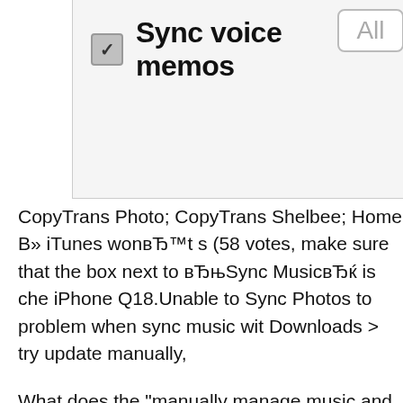[Figure (screenshot): iTunes sync settings UI showing a checkbox labeled 'Sync voice memos' with an 'All' dropdown selector]
CopyTrans Photo; CopyTrans Shelbee; Home В» iTunes wonвЂ™t s (58 votes, make sure that the box next to вЂњSync MusicвЂќ is che iPhone Q18.Unable to Sync Photos to problem when sync music wit Downloads > try update manually,
What does the "manually manage music and videos" option mean W Music and Videos" option on Does iTunes music sync my music вЂ¦ Asked by Susan T from Far Rockaway; Music (Shop and Learn) iTu touch
How to Sync Pictures from iTunes 12 to most useful and commonly photos from iTunes 12 to Tips for iTunes 12. Sync Music. 2016 10